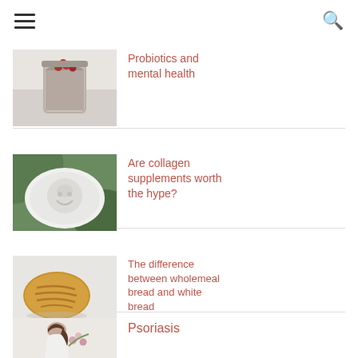Menu | Search
[Figure (photo): Glass jar with yogurt and red berries on top, on a light fabric background]
Probiotics and mental health
[Figure (photo): White ceramic plate with molded design, green leaves background]
Are collagen supplements worth the hype?
[Figure (photo): Baked bread roll or pastry on light grey background]
The difference between wholemeal bread and white bread
[Figure (photo): Woman in white dress holding flowers, partial view]
Psoriasis